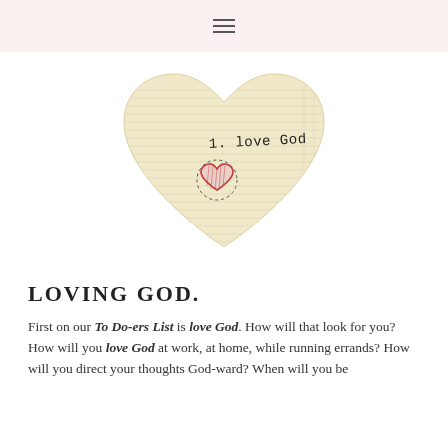≡
[Figure (illustration): A heart shape made from lined notebook paper with handwritten text '1. love God' and a small red hand-drawn heart with a dashed circle beneath it.]
LOVING GOD.
First on our To Do-ers List is love God. How will that look for you? How will you love God at work, at home, while running errands? How will you direct your thoughts God-ward? When will you be